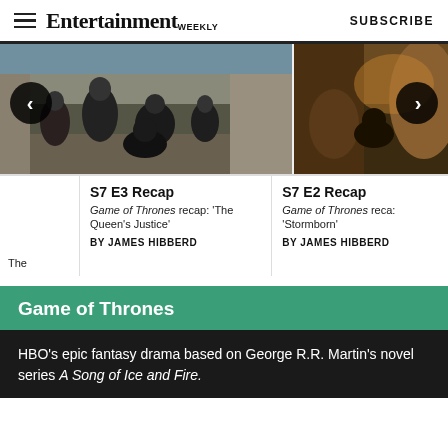Entertainment Weekly — SUBSCRIBE
[Figure (photo): Carousel with two article cards: S7 E3 Recap (Game of Thrones, The Queen's Justice) and S7 E2 Recap (Game of Thrones, Stormborn), both by James Hibberd. Left photo shows figures in dark cloaks outdoors. Right photo shows a cave/stone scene.]
S7 E3 Recap
Game of Thrones recap: 'The Queen's Justice'
BY JAMES HIBBERD
S7 E2 Recap
Game of Thrones reca: 'Stormborn'
BY JAMES HIBBERD
Game of Thrones
HBO's epic fantasy drama based on George R.R. Martin's novel series A Song of Ice and Fire.